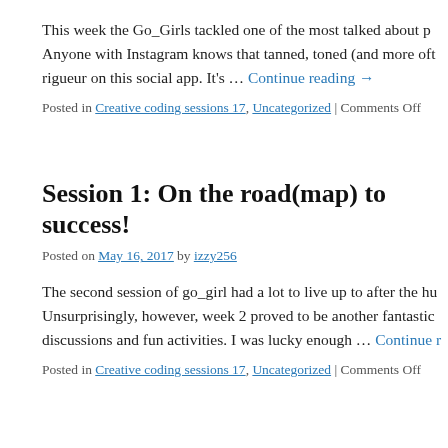This week the Go_Girls tackled one of the most talked about p... Anyone with Instagram knows that tanned, toned (and more oft... rigueur on this social app. It's … Continue reading →
Posted in Creative coding sessions 17, Uncategorized | Comments Off
Session 1: On the road(map) to success!
Posted on May 16, 2017 by izzy256
The second session of go_girl had a lot to live up to after the hu... Unsurprisingly, however, week 2 proved to be another fantastic... discussions and fun activities. I was lucky enough … Continue r...
Posted in Creative coding sessions 17, Uncategorized | Comments Off